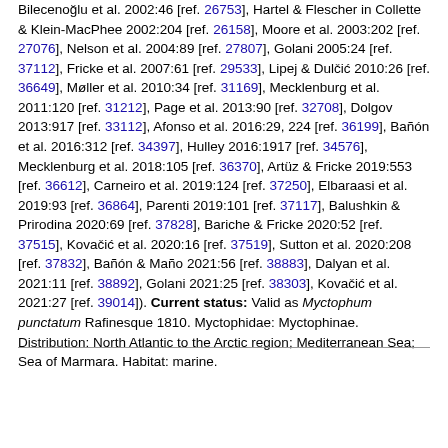Bilecenoğlu et al. 2002:46 [ref. 26753], Hartel & Flescher in Collette & Klein-MacPhee 2002:204 [ref. 26158], Moore et al. 2003:202 [ref. 27076], Nelson et al. 2004:89 [ref. 27807], Golani 2005:24 [ref. 37112], Fricke et al. 2007:61 [ref. 29533], Lipej & Dulčić 2010:26 [ref. 36649], Møller et al. 2010:34 [ref. 31169], Mecklenburg et al. 2011:120 [ref. 31212], Page et al. 2013:90 [ref. 32708], Dolgov 2013:917 [ref. 33112], Afonso et al. 2016:29, 224 [ref. 36199], Bañón et al. 2016:312 [ref. 34397], Hulley 2016:1917 [ref. 34576], Mecklenburg et al. 2018:105 [ref. 36370], Artüz & Fricke 2019:553 [ref. 36612], Carneiro et al. 2019:124 [ref. 37250], Elbaraasi et al. 2019:93 [ref. 36864], Parenti 2019:101 [ref. 37117], Balushkin & Prirodina 2020:69 [ref. 37828], Bariche & Fricke 2020:52 [ref. 37515], Kovačić et al. 2020:16 [ref. 37519], Sutton et al. 2020:208 [ref. 37832], Bañón & Maño 2021:56 [ref. 38883], Dalyan et al. 2021:11 [ref. 38892], Golani 2021:25 [ref. 38303], Kovačić et al. 2021:27 [ref. 39014]). Current status: Valid as Myctophum punctatum Rafinesque 1810. Myctophidae: Myctophinae. Distribution: North Atlantic to the Arctic region; Mediterranean Sea; Sea of Marmara. Habitat: marine.